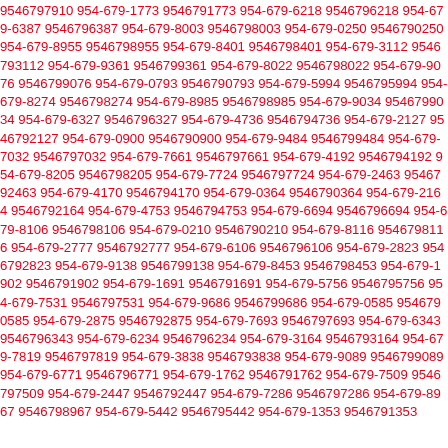9546797910 954-679-1773 9546791773 954-679-6218 9546796218 954-679-6387 9546796387 954-679-8003 9546798003 954-679-0250 9546790250 954-679-8955 9546798955 954-679-8401 9546798401 954-679-3112 9546793112 954-679-9361 9546799361 954-679-8022 9546798022 954-679-9076 9546799076 954-679-0793 9546790793 954-679-5994 9546795994 954-679-8274 9546798274 954-679-8985 9546798985 954-679-9034 9546799034 954-679-6327 9546796327 954-679-4736 9546794736 954-679-2127 9546792127 954-679-0900 9546790900 954-679-9484 9546799484 954-679-7032 9546797032 954-679-7661 9546797661 954-679-4192 9546794192 954-679-8205 9546798205 954-679-7724 9546797724 954-679-2463 9546792463 954-679-4170 9546794170 954-679-0364 9546790364 954-679-2164 9546792164 954-679-4753 9546794753 954-679-6694 9546796694 954-679-8106 9546798106 954-679-0210 9546790210 954-679-8116 9546798116 954-679-2777 9546792777 954-679-6106 9546796106 954-679-2823 9546792823 954-679-9138 9546799138 954-679-8453 9546798453 954-679-1902 9546791902 954-679-1691 9546791691 954-679-5756 9546795756 954-679-7531 9546797531 954-679-9686 9546799686 954-679-0585 9546790585 954-679-2875 9546792875 954-679-7693 9546797693 954-679-6343 9546796343 954-679-6234 9546796234 954-679-3164 9546793164 954-679-7819 9546797819 954-679-3838 9546793838 954-679-9089 9546799089 954-679-6771 9546796771 954-679-1762 9546791762 954-679-7509 9546797509 954-679-2447 9546792447 954-679-7286 9546797286 954-679-8967 9546798967 954-679-5442 9546795442 954-679-1353 9546791353